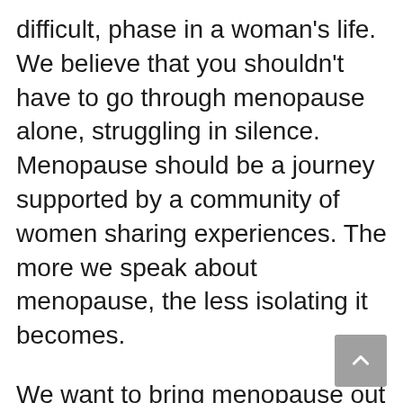difficult, phase in a woman's life. We believe that you shouldn't have to go through menopause alone, struggling in silence. Menopause should be a journey supported by a community of women sharing experiences. The more we speak about menopause, the less isolating it becomes.
We want to bring menopause out from the shadows and into the light and to explore ways of making it an easier journey for you.